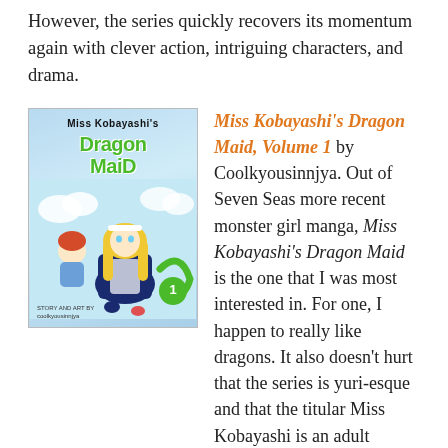However, the series quickly recovers its momentum again with clever action, intriguing characters, and drama.
[Figure (illustration): Book cover of Miss Kobayashi's Dragon Maid Volume 1 by Coolkyousinnjya, featuring anime-style characters including a blonde girl in a maid outfit and a red-haired child against a blue sky background. Number 1 badge in green circle on the bottom right.]
Miss Kobayashi's Dragon Maid, Volume 1 by Coolkyousinnjya. Out of Seven Seas more recent monster girl manga, Miss Kobayashi's Dragon Maid is the one that I was most interested in. For one, I happen to really like dragons. It also doesn't hurt that the series is yuri-esque and that the titular Miss Kobayashi is an adult woman working as a systems engineer. Miss Kobayashi's Dragon Maid features some nudity and bawdiness but for the most part it doesn't tend to be overly-sexualized which is also refreshing. The manga can actually be surprisingly cute, charming, and sweet. Hotaru is a dragon who has taken it upon herself to act as Kobayashi's maid after Kobayashi saves her life. For her part, Kobayashi thought it was all an alcohol-induced dream and so is very surprised to discover that a dragon girl has made herself at